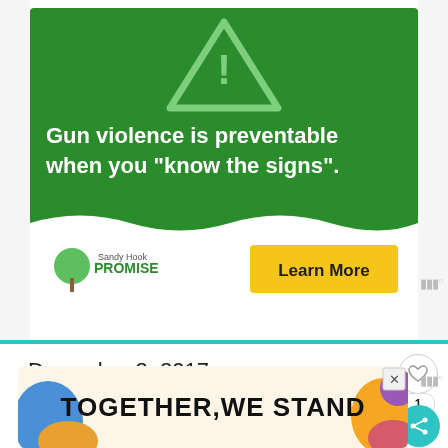[Figure (infographic): Sandy Hook Promise advertisement on green background with warning triangle icon. Text: 'Gun violence is preventable when you know the signs.' With Sandy Hook Promise logo and yellow Learn More button.]
December 3, 2017
“I wish you enough.”
[Figure (infographic): Advertisement banner with colorful shapes and text: TOGETHER WE STAND]